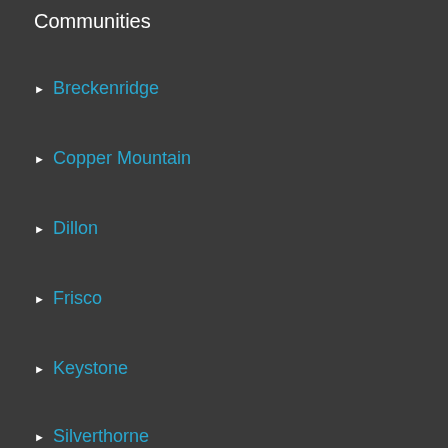Communities
Breckenridge
Copper Mountain
Dillon
Frisco
Keystone
Silverthorne
Navigation
About
Communities
Buyers
Sellers